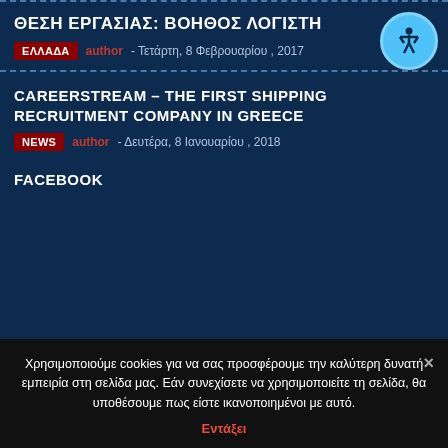ΘΕΣΗ ΕΡΓΑΣΙΑΣ: ΒΟΗΘΟΣ ΛΟΓΙΣΤΗ
ΕΛΛΑΔΑ  - Τετάρτη, 8 Φεβρουαρίου , 2017
CAREERSTREAM – THE FIRST SHIPPING RECRUITMENT COMPANY IN GREECE
NEWS  - Δευτέρα, 8 Ιανουαρίου , 2018
FACEBOOK
Χρησιμοποιούμε cookies για να σας προσφέρουμε την καλύτερη δυνατή εμπειρία στη σελίδα μας. Εάν συνεχίσετε να χρησιμοποιείτε τη σελίδα, θα υποθέσουμε πως είστε ικανοποιημένοι με αυτό.
Εντάξει